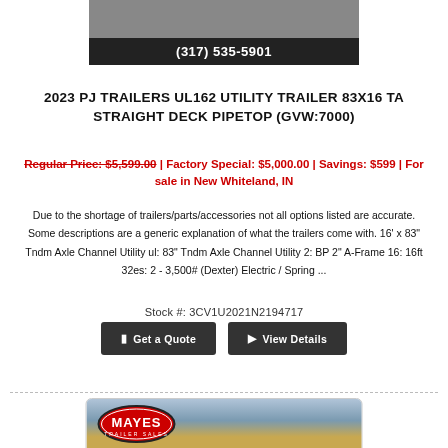[Figure (photo): Top partial image of trailer with phone number bar showing (317) 535-5901]
2023 PJ TRAILERS UL162 UTILITY TRAILER 83X16 TA STRAIGHT DECK PIPETOP (GVW:7000)
Regular Price: $5,599.00 | Factory Special: $5,000.00 | Savings: $599 | For sale in New Whiteland, IN
Due to the shortage of trailers/parts/accessories not all options listed are accurate. Some descriptions are a generic explanation of what the trailers come with. 16' x 83" Tndm Axle Channel Utility ul: 83" Tndm Axle Channel Utility 2: BP 2" A-Frame 16: 16ft 32es: 2 - 3,500# (Dexter) Electric / Spring ...
Stock #: 3CV1U2021N2194717
[Figure (photo): Bottom partial image showing Mayes Trailer Sales lot with trailers]